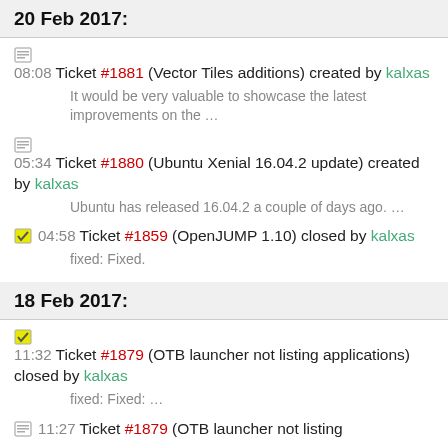20 Feb 2017:
08:08 Ticket #1881 (Vector Tiles additions) created by kalxas
It would be very valuable to showcase the latest improvements on the ...
05:34 Ticket #1880 (Ubuntu Xenial 16.04.2 update) created by kalxas
Ubuntu has released 16.04.2 a couple of days ago. ...
04:58 Ticket #1859 (OpenJUMP 1.10) closed by kalxas
fixed: Fixed.
18 Feb 2017:
11:32 Ticket #1879 (OTB launcher not listing applications) closed by kalxas
fixed: Fixed: ...
11:27 Ticket #1879 (OTB launcher not listing